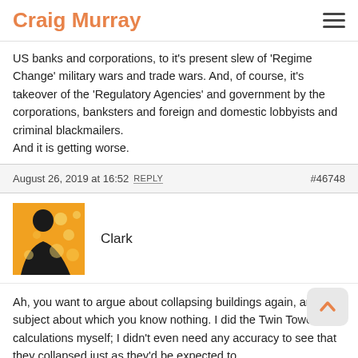Craig Murray
US banks and corporations, to it's present slew of 'Regime Change' military wars and trade wars. And, of course, it's takeover of the 'Regulatory Agencies' and government by the corporations, banksters and foreign and domestic lobbyists and criminal blackmailers.
And it is getting worse.
August 26, 2019 at 16:52 REPLY #46748
Clark
Ah, you want to argue about collapsing buildings again, another subject about which you know nothing. I did the Twin Tower calculations myself; I didn't even need any accuracy to see that they collapsed just as they'd be expected to.